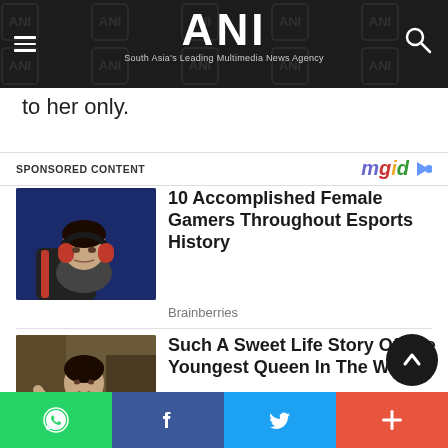ANI - South Asia's Leading Multimedia News Agency
to her only.
SPONSORED CONTENT
[Figure (photo): Woman wearing red gaming headphones focused on screen]
10 Accomplished Female Gamers Throughout Esports History
Brainberries
[Figure (photo): Young woman in traditional colorful Bhutanese costume]
Such A Sweet Life Story Of The Youngest Queen In The World
Brainberries
WhatsApp | Facebook | Twitter | More